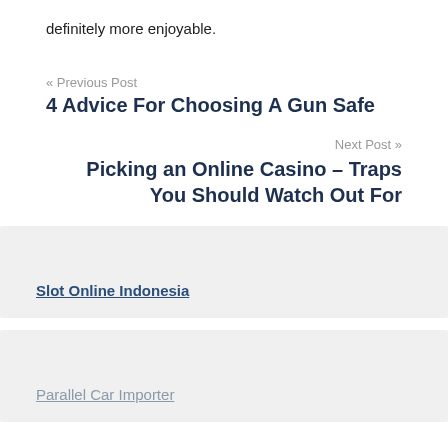definitely more enjoyable.
« Previous Post
4 Advice For Choosing A Gun Safe
Next Post »
Picking an Online Casino – Traps You Should Watch Out For
Slot Online Indonesia
Parallel Car Importer